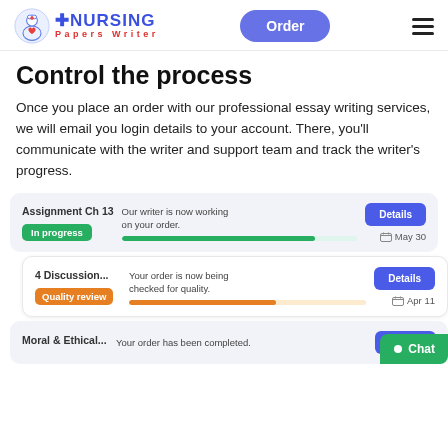[Figure (logo): Nursing Papers Writer logo with nurse icon, blue NURSING text, red Papers Writer text]
Control the process
Once you place an order with our professional essay writing services, we will email you login details to your account. There, you'll communicate with the writer and support team and track the writer's progress.
[Figure (screenshot): Order tracking card 1: Assignment Ch 13, In progress badge (green), Our writer is now working on your order., green progress bar, Details button (blue), May 30 date]
[Figure (screenshot): Order tracking card 2: 4 Discussion..., Quality review badge (orange), Your order is now being checked for quality., orange progress bar, Details button (blue), Apr 11 date]
[Figure (screenshot): Order tracking card 3: Moral & Ethical..., Your order has been completed., Details button (blue)]
[Figure (screenshot): Green Chat button at bottom right]